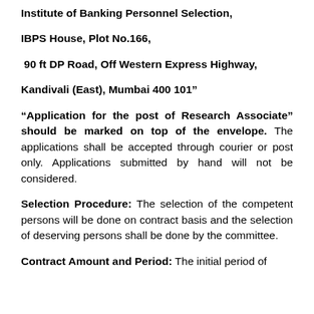Institute of Banking Personnel Selection,
IBPS House, Plot No.166,
90 ft DP Road, Off Western Express Highway,
Kandivali (East), Mumbai 400 101”
“Application for the post of Research Associate” should be marked on top of the envelope. The applications shall be accepted through courier or post only. Applications submitted by hand will not be considered.
Selection Procedure: The selection of the competent persons will be done on contract basis and the selection of deserving persons shall be done by the committee.
Contract Amount and Period: The initial period of